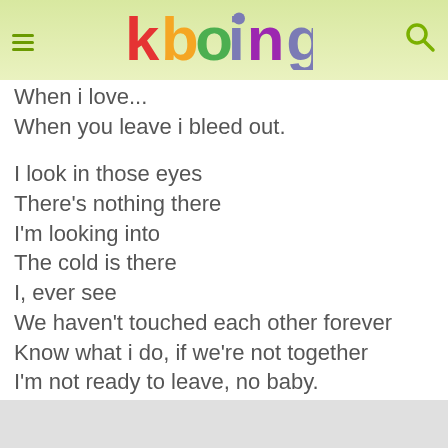[Figure (logo): Kboing website header with hamburger menu, colorful 'kboing' logo, and search icon on a light yellow-green gradient background]
When i love...
When you leave i bleed out.

I look in those eyes
There's nothing there
I'm looking into
The cold is there
I, ever see
We haven't touched each other forever
Know what i do, if we're not together
I'm not ready to leave, no baby.